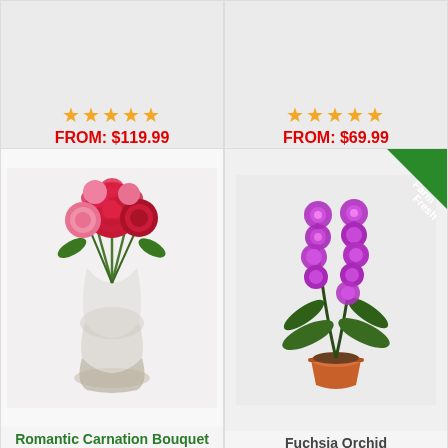[Figure (photo): Top-left product card partial view with 5-star rating and price FROM: $119.99]
FROM: $119.99
[Figure (photo): Top-right product card partial view with 5-star rating and price FROM: $69.99]
FROM: $69.99
[Figure (photo): Romantic Carnation Bouquet - red and pink carnations in a glass vase]
Romantic Carnation Bouquet
FROM: $37.99
[Figure (photo): Fuchsia Orchid in terracotta pot with Farm Fresh badge]
Fuchsia Orchid
FROM: $67.99
[Figure (photo): Bottom-left green plant with large spotted leaves]
[Figure (photo): Bottom-right white and green flower arrangement]